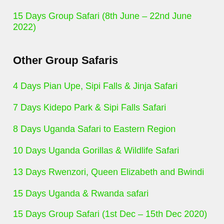15 Days Group Safari (8th June – 22nd June 2022)
Other Group Safaris
4 Days Pian Upe, Sipi Falls & Jinja Safari
7 Days Kidepo Park & Sipi Falls Safari
8 Days Uganda Safari to Eastern Region
10 Days Uganda Gorillas & Wildlife Safari
13 Days Rwenzori, Queen Elizabeth and Bwindi
15 Days Uganda & Rwanda safari
15 Days Group Safari (1st Dec – 15th Dec 2020)
30 Days African Safari